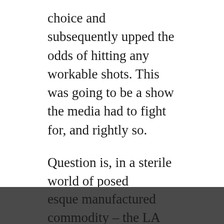choice and subsequently upped the odds of hitting any workable shots. This was going to be a show the media had to fight for, and rightly so.

Question is, in a sterile world of posed Instagram selfies, are Starcrawler the ultimate in contrived heroin chic or are they more 'for real' than the late Richey Manic? Apparently Steve Lamacq was in the building but Starcrawler's theatrics didn't stretch quite as far as arm slicing. Arrow de Wilde appears as the personification of the Warhol-esque manufactured commodity – the LA